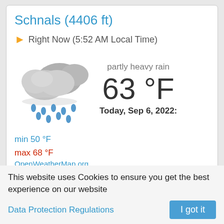Schnals (4406 ft)
Right Now (5:52 AM Local Time)
[Figure (illustration): Weather icon showing rain clouds with blue raindrops falling]
partly heavy rain
63 °F
Today, Sep 6, 2022:
min 50 °F
max 68 °F
OpenWeatherMap.org
Next Hours
This website uses Cookies to ensure you get the best experience on our website
Data Protection Regulations
I got it